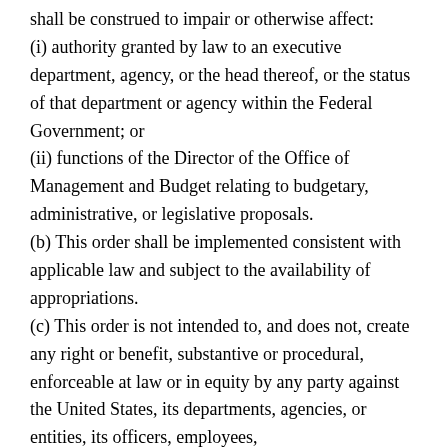shall be construed to impair or otherwise affect:
(i) authority granted by law to an executive department, agency, or the head thereof, or the status of that department or agency within the Federal Government; or
(ii) functions of the Director of the Office of Management and Budget relating to budgetary, administrative, or legislative proposals.
(b) This order shall be implemented consistent with applicable law and subject to the availability of appropriations.
(c) This order is not intended to, and does not, create any right or benefit, substantive or procedural, enforceable at law or in equity by any party against the United States, its departments, agencies, or entities, its officers, employees,